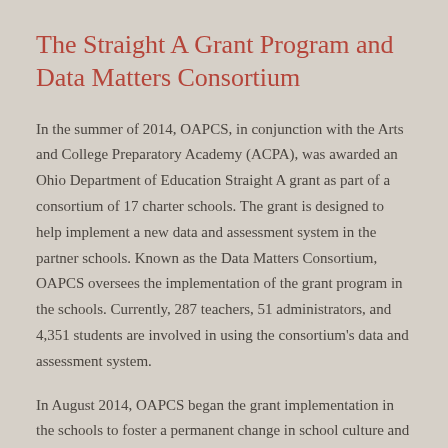The Straight A Grant Program and Data Matters Consortium
In the summer of 2014, OAPCS, in conjunction with the Arts and College Preparatory Academy (ACPA), was awarded an Ohio Department of Education Straight A grant as part of a consortium of 17 charter schools. The grant is designed to help implement a new data and assessment system in the partner schools. Known as the Data Matters Consortium, OAPCS oversees the implementation of the grant program in the schools. Currently, 287 teachers, 51 administrators, and 4,351 students are involved in using the consortium's data and assessment system.
In August 2014, OAPCS began the grant implementation in the schools to foster a permanent change in school culture and train teachers to use data to drive decisions about